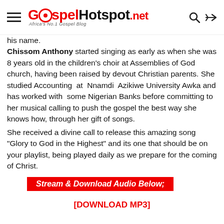GospelHotspot.net — Africa's No.1 Gospel Blog
his name.
Chissom Anthony started singing as early as when she was 8 years old in the children's choir at Assemblies of God church, having been raised by devout Christian parents. She studied Accounting at Nnamdi Azikiwe University Awka and has worked with some Nigerian Banks before committing to her musical calling to push the gospel the best way she knows how, through her gift of songs.
She received a divine call to release this amazing song "Glory to God in the Highest" and its one that should be on your playlist, being played daily as we prepare for the coming of Christ.
Stream & Download Audio Below;
[DOWNLOAD MP3]